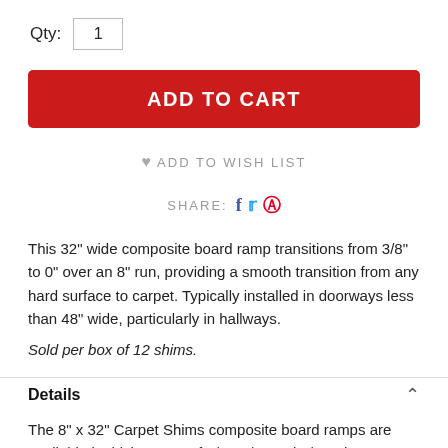Qty: 1
ADD TO CART
ADD TO WISH LIST
SHARE:
This 32" wide composite board ramp transitions from 3/8" to 0" over an 8" run, providing a smooth transition from any hard surface to carpet. Typically installed in doorways less than 48" wide, particularly in hallways.
Sold per box of 12 shims.
Details
The 8" x 32" Carpet Shims composite board ramps are available in thicknesses of 1/4", 3/8" and 1/2". These ramps